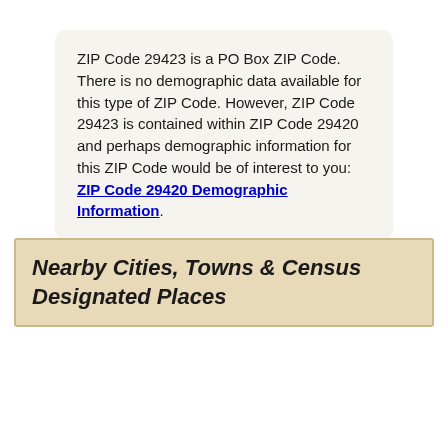ZIP Code 29423 is a PO Box ZIP Code. There is no demographic data available for this type of ZIP Code. However, ZIP Code 29423 is contained within ZIP Code 29420 and perhaps demographic information for this ZIP Code would be of interest to you: ZIP Code 29420 Demographic Information.
Nearby Cities, Towns & Census Designated Places